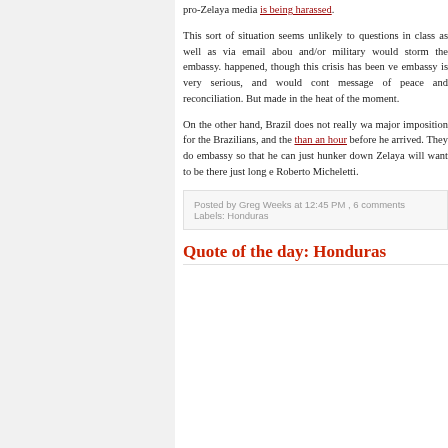pro-Zelaya media is being harassed.
This sort of situation seems unlikely to questions in class as well as via email about and/or military would storm the embassy. happened, though this crisis has been ve embassy is very serious, and would cont message of peace and reconciliation. But made in the heat of the moment.
On the other hand, Brazil does not really wa major imposition for the Brazilians, and the than an hour before he arrived. They do embassy so that he can just hunker down Zelaya will want to be there just long e Roberto Micheletti.
Posted by Greg Weeks at 12:45 PM , 6 comments Labels: Honduras
Quote of the day: Honduras